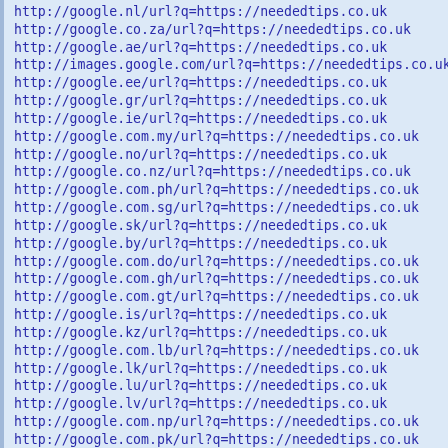http://google.nl/url?q=https://neededtips.co.uk
http://google.co.za/url?q=https://neededtips.co.uk
http://google.ae/url?q=https://neededtips.co.uk
http://images.google.com/url?q=https://neededtips.co.uk
http://google.ee/url?q=https://neededtips.co.uk
http://google.gr/url?q=https://neededtips.co.uk
http://google.ie/url?q=https://neededtips.co.uk
http://google.com.my/url?q=https://neededtips.co.uk
http://google.no/url?q=https://neededtips.co.uk
http://google.co.nz/url?q=https://neededtips.co.uk
http://google.com.ph/url?q=https://neededtips.co.uk
http://google.com.sg/url?q=https://neededtips.co.uk
http://google.sk/url?q=https://neededtips.co.uk
http://google.by/url?q=https://neededtips.co.uk
http://google.com.do/url?q=https://neededtips.co.uk
http://google.com.gh/url?q=https://neededtips.co.uk
http://google.com.gt/url?q=https://neededtips.co.uk
http://google.is/url?q=https://neededtips.co.uk
http://google.kz/url?q=https://neededtips.co.uk
http://google.com.lb/url?q=https://neededtips.co.uk
http://google.lk/url?q=https://neededtips.co.uk
http://google.lu/url?q=https://neededtips.co.uk
http://google.lv/url?q=https://neededtips.co.uk
http://google.com.np/url?q=https://neededtips.co.uk
http://google.com.pk/url?q=https://neededtips.co.uk
http://google.com.pr/url?q=https://neededtips.co.uk
http://google.tn/url?q=https://neededtips.co.uk
http://google.co.ug/url?q=https://neededtips.co.uk
http://google.com.uy/url?q=https://neededtips.co.uk
http://google.ad/url?q=https://neededtips.co.uk